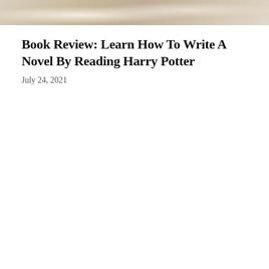[Figure (photo): Top portion of a photograph showing books or papers in a soft, warm-toned setting, cropped to show only the upper edge.]
Book Review: Learn How To Write A Novel By Reading Harry Potter
July 24, 2021